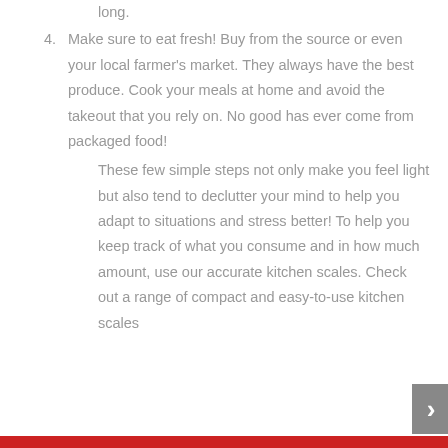long.
4. Make sure to eat fresh! Buy from the source or even your local farmer's market. They always have the best produce. Cook your meals at home and avoid the takeout that you rely on. No good has ever come from packaged food!
These few simple steps not only make you feel light but also tend to declutter your mind to help you adapt to situations and stress better! To help you keep track of what you consume and in how much amount, use our accurate kitchen scales. Check out a range of compact and easy-to-use kitchen scales